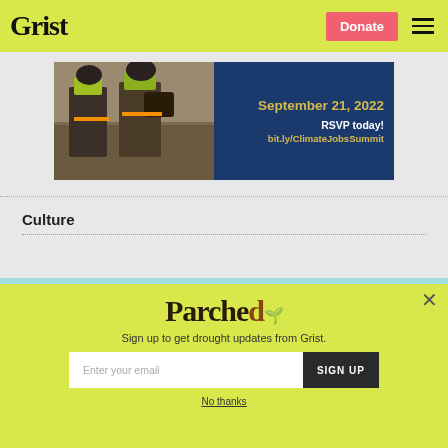Grist | Donate
[Figure (infographic): Banner advertisement for Climate Jobs Summit on September 21, 2022. Left side shows workers in high-visibility vests. Right side has dark blue background with gold text reading 'September 21, 2022 RSVP today! bit.ly/ClimateJobsSummit']
Culture
[Figure (screenshot): Modal popup overlay with lime-green background. Shows 'Parched' logo with decorative lettering and a fire/nature themed letter d. Text reads 'Sign up to get drought updates from Grist.' Email signup form with 'Enter your email' placeholder and 'SIGN UP' button. 'No thanks' link at bottom. Close (X) button in top right corner.]